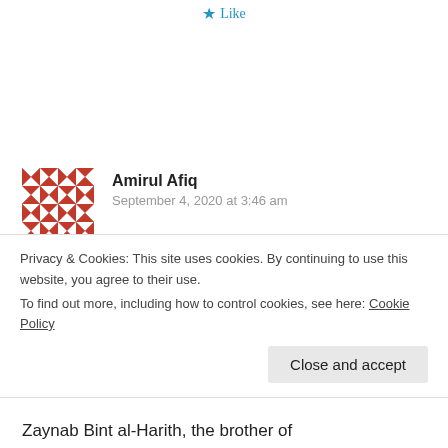Like
[Figure (illustration): Red and white geometric patterned avatar/icon for user Amirul Afiq]
Amirul Afiq
September 4, 2020 at 3:46 am
Assalamualaikum can anyone address the issue below?
From pages 251, 252 of Ibn Sa'd's Kitab
Privacy & Cookies: This site uses cookies. By continuing to use this website, you agree to their use.
To find out more, including how to control cookies, see here: Cookie Policy
Close and accept
Zaynab Bint al-Harith, the brother of